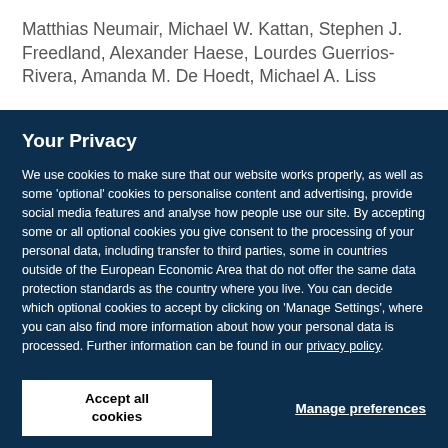Matthias Neumair, Michael W. Kattan, Stephen J. Freedland, Alexander Haese, Lourdes Guerrios-Rivera, Amanda M. De Hoedt, Michael A. Liss
Your Privacy
We use cookies to make sure that our website works properly, as well as some 'optional' cookies to personalise content and advertising, provide social media features and analyse how people use our site. By accepting some or all optional cookies you give consent to the processing of your personal data, including transfer to third parties, some in countries outside of the European Economic Area that do not offer the same data protection standards as the country where you live. You can decide which optional cookies to accept by clicking on 'Manage Settings', where you can also find more information about how your personal data is processed. Further information can be found in our privacy policy.
Accept all cookies
Manage preferences